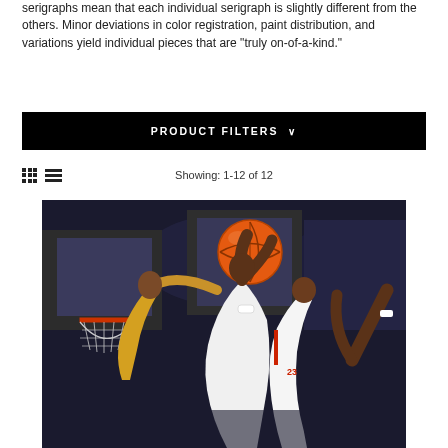serigraphs mean that each individual serigraph is slightly different from the others. Minor deviations in color registration, paint distribution, and variations yield individual pieces that are "truly on-of-a-kind."
PRODUCT FILTERS ∨
Showing: 1-12 of 12
[Figure (illustration): Basketball artwork serigraph showing players reaching for an orange basketball near the hoop, with player number 23 in white jersey visible among multiple players and a crowd background.]